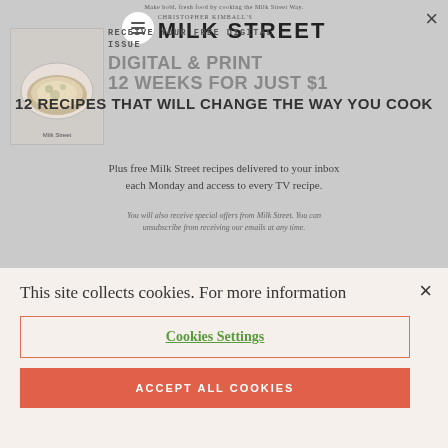[Figure (screenshot): Background overlay of Milk Street magazine subscription promotion with close button, magazine cover image, and promotional text]
RECEIVE YOUR FREE DIGITAL ISSUE
12 WEEKS FOR JUST $1
12 RECIPES THAT WILL CHANGE THE WAY YOU COOK
Plus free Milk Street recipes delivered to your inbox each Monday and access to every TV recipe.
You will also receive special offers from Milk Street. You can unsubscribe from receiving our emails at any time.
This site collects cookies. For more information
Cookies Settings
ACCEPT ALL COOKIES